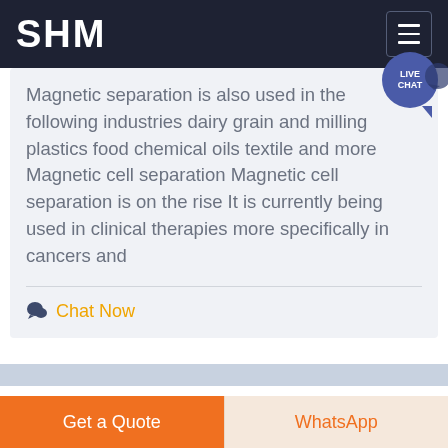SHM
Magnetic separation is also used in the following industries dairy grain and milling plastics food chemical oils textile and more Magnetic cell separation Magnetic cell separation is on the rise It is currently being used in clinical therapies more specifically in cancers and
Chat Now